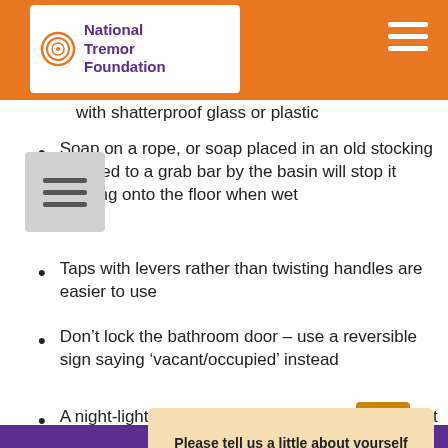National Tremor Foundation
replace them with shatterproof glass or plastic
Soap on a rope, or soap placed in an old stocking and tied to a grab bar by the basin will stop it slipping onto the floor when wet
Taps with levers rather than twisting handles are easier to use
Don’t lock the bathroom door – use a reversible sign saying ‘vacant/occupied’ instead
A night-light in the hallway can make it safer to get to
Cookie Policy
This website uses cookies that are necessary to its functioning and required to achieve the purposes illustrated in the privacy policy. By accepting this OR scrolling this page OR continuing to browse, you agree to our privacy policy.
Please tell us a little about yourself
Reply